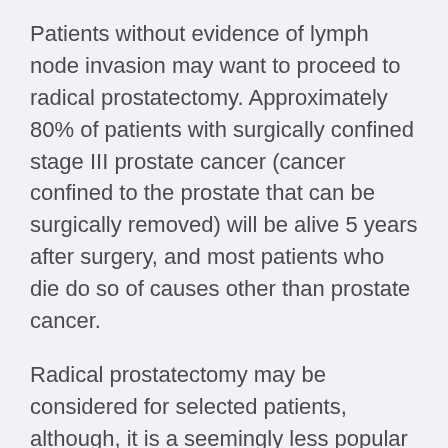Patients without evidence of lymph node invasion may want to proceed to radical prostatectomy. Approximately 80% of patients with surgically confined stage III prostate cancer (cancer confined to the prostate that can be surgically removed) will be alive 5 years after surgery, and most patients who die do so of causes other than prostate cancer.
Radical prostatectomy may be considered for selected patients, although, it is a seemingly less popular approach due to the invasive nature in comparison to EBRT as well as the distinct set of complications which surgery poses; including perioperative mortality, long-term sexual dysfunction, and urinary incontinence. Additionally, the high likelihood that postoperative radiotherapy will be required potentially exposes patients to